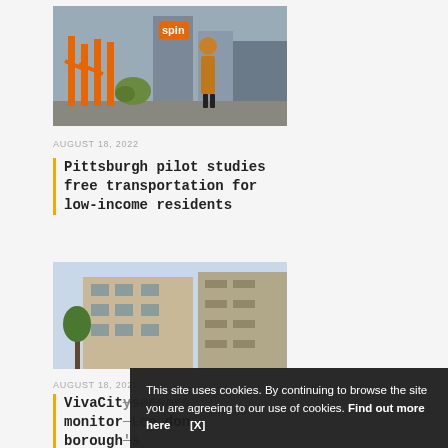[Figure (photo): Photo of a woman standing near orange Spin electric scooters parked on a city street with buildings in the background]
AUGUST 18, 2022
Pittsburgh pilot studies free transportation for low-income residents
[Figure (photo): Photo of modern residential apartment buildings with balconies]
AUGUST 18, 2022
VivaCitysensors monitor London borough's Neighbourhood Programme
This site uses cookies. By continuing to browse the site you are agreeing to our use of cookies. Find out more here [X]